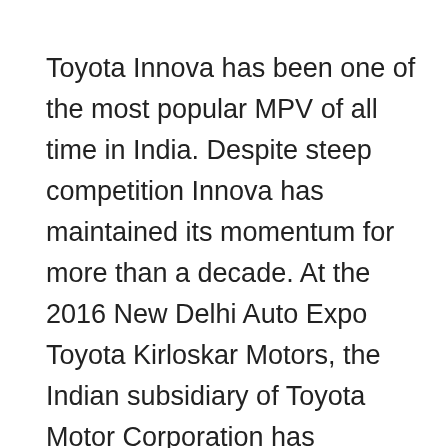Toyota Innova has been one of the most popular MPV of all time in India. Despite steep competition Innova has maintained its momentum for more than a decade. At the 2016 New Delhi Auto Expo Toyota Kirloskar Motors, the Indian subsidiary of Toyota Motor Corporation has showcased the new Innova. It was dubbed as the Innova Crysta.
The new Innova looks way better than the previous version. Now with the arrival of Innova Crysta the first generation Innova's production has come to an end. Toyota